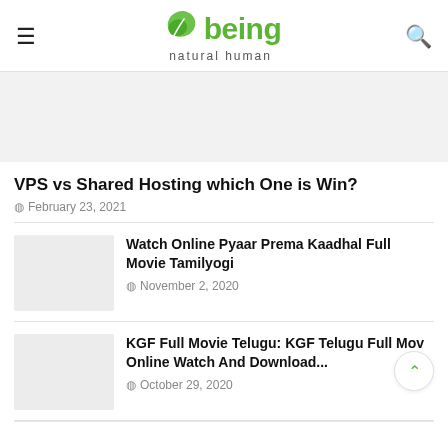being natural human
[Figure (other): Advertisement banner placeholder, light gray rectangle]
VPS vs Shared Hosting which One is Win?
February 23, 2021
[Figure (photo): Thumbnail image placeholder for article about Pyaar Prema Kaadhal Full Movie Tamilyogi]
Watch Online Pyaar Prema Kaadhal Full Movie Tamilyogi
November 2, 2020
[Figure (photo): Thumbnail image placeholder for article about KGF Full Movie Telugu]
KGF Full Movie Telugu: KGF Telugu Full Mov Online Watch And Download...
October 29, 2020